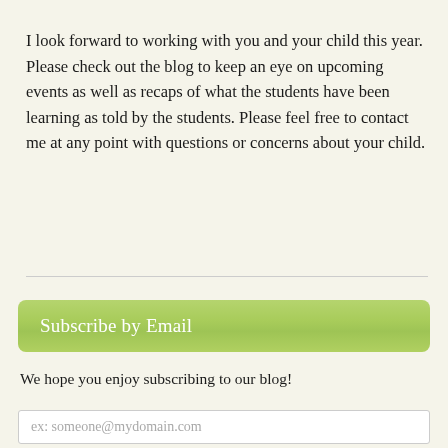I look forward to working with you and your child this year. Please check out the blog to keep an eye on upcoming events as well as recaps of what the students have been learning as told by the students. Please feel free to contact me at any point with questions or concerns about your child.
Subscribe by Email
We hope you enjoy subscribing to our blog!
ex: someone@mydomain.com